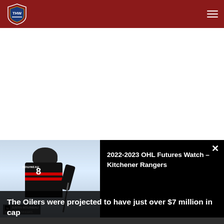THW - The Hockey Writers
[Figure (screenshot): Video popup overlay showing a hockey player wearing jersey number 8 with name BOUINEAU, in black and red uniform on ice. Overlay shows title '2022-2023 OHL Futures Watch – Kitchener Rangers' on black background with close button.]
The Oilers were projected to have just over $7 million in cap